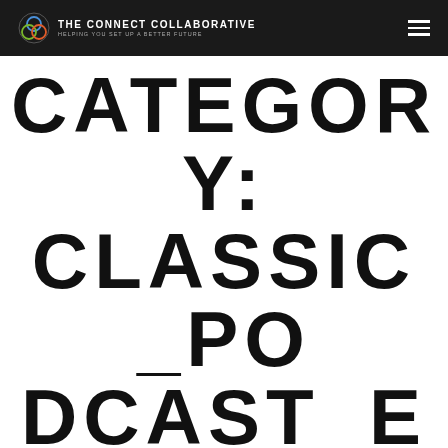THE CONNECT COLLABORATIVE — HELPING YOU SET UP A BETTER FUTURE
CATEGORY: CLASSIC_PODCAST_EPISODE
MINI-HABITS